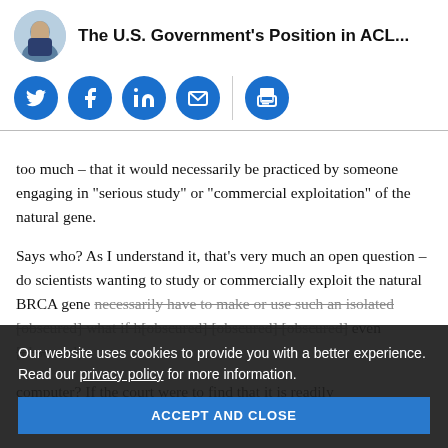The U.S. Government's Position in ACL...
[Figure (infographic): Social sharing icons row: Twitter, Facebook, LinkedIn, Email, Print — blue circles with white icons]
too much – that it would necessarily be practiced by someone engaging in "serious study" or "commercial exploitation" of the natural gene.
Says who? As I understand it, that's very much an open question – do scientists wanting to study or commercially exploit the natural BRCA gene necessarily have to make or use such an isolated [partially obscured] even [partially obscured]
computer? If the court were to find that it is readily
Our website uses cookies to provide you with a better experience. Read our privacy policy for more information.
ACCEPT AND CLOSE